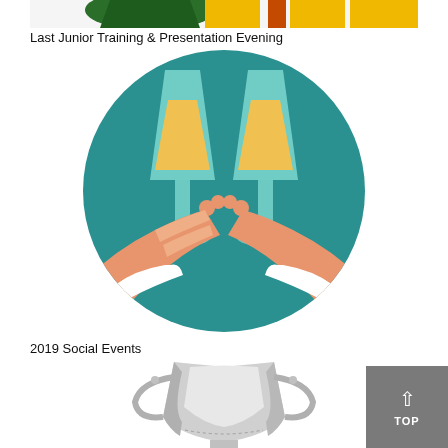[Figure (illustration): Partial view of an image at the top of the page, showing colorful shapes (green and yellow/orange) — appears to be a cropped logo or banner image]
Last Junior Training & Presentation Evening
[Figure (illustration): Circular illustration showing two hands clinking champagne flutes filled with golden liquid against a teal background — a celebration/toast image]
2019 Social Events
[Figure (photo): Photograph of a silver trophy cup with two handles, partially visible at the bottom of the page]